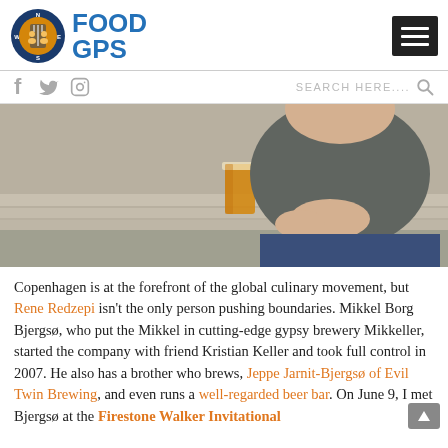FOOD GPS
[Figure (photo): Person sitting outdoors on wooden bench with a glass of beer, wearing a grey t-shirt and blue pants]
Copenhagen is at the forefront of the global culinary movement, but Rene Redzepi isn't the only person pushing boundaries. Mikkel Borg Bjergsø, who put the Mikkel in cutting-edge gypsy brewery Mikkeller, started the company with friend Kristian Keller and took full control in 2007. He also has a brother who brews, Jeppe Jarnit-Bjergsø of Evil Twin Brewing, and even runs a well-regarded beer bar. On June 9, I met Bjergsø at the Firestone Walker Invitational